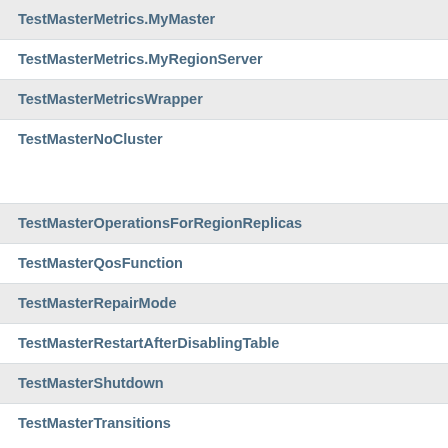TestMasterMetrics.MyMaster
TestMasterMetrics.MyRegionServer
TestMasterMetricsWrapper
TestMasterNoCluster
TestMasterOperationsForRegionReplicas
TestMasterQosFunction
TestMasterRepairMode
TestMasterRestartAfterDisablingTable
TestMasterShutdown
TestMasterTransitions
TestMergeTableRegionsWhileRSCrash
TestMetaAssignmentWithStopMaster
TestMetaShutdownHandler